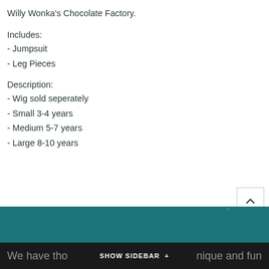Willy Wonka's Chocolate Factory.
Includes:
- Jumpsuit
- Leg Pieces
Description:
- Wig sold seperately
- Small 3-4 years
- Medium 5-7 years
- Large 8-10 years
SHOW SIDEBAR +   We have those unique and fun